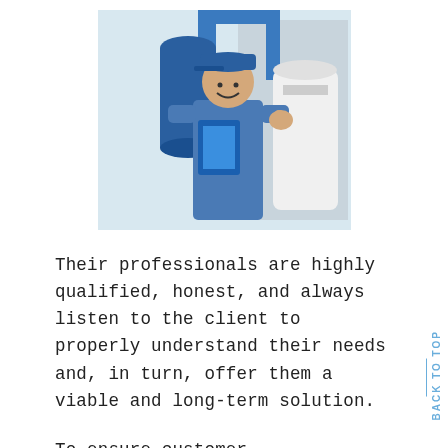[Figure (photo): A smiling HVAC technician in a blue uniform and cap holding a clipboard and giving a thumbs up, standing in front of industrial water filtration/treatment equipment with blue pipes.]
Their professionals are highly qualified, honest, and always listen to the client to properly understand their needs and, in turn, offer them a viable and long-term solution.
To ensure customer satisfaction, the company only sells products from some of the top brands in the business. So whether clients are looking for replacement parts for the water treatment system or air conditioning unit, with The HVAC Service, clients will only acquire